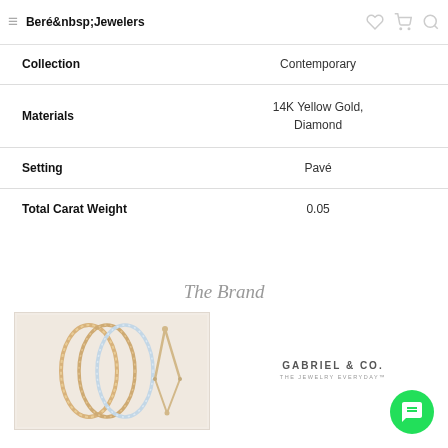Ber&eacute;&nbsp;Jewelers
| Attribute | Value |
| --- | --- |
| Collection | Contemporary |
| Materials | 14K Yellow Gold, Diamond |
| Setting | Pavé |
| Total Carat Weight | 0.05 |
The Brand
[Figure (photo): Jewelry product images showing diamond bracelets and earrings on a beige background]
[Figure (logo): Gabriel & Co. - The Jewelry Everyday logo]